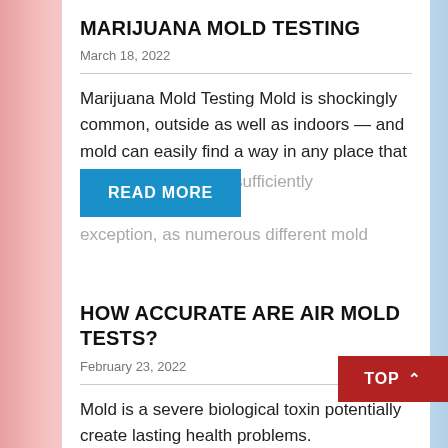MARIJUANA MOLD TESTING
March 18, 2022
Marijuana Mold Testing Mold is shockingly common, outside as well as indoors — and mold can easily find a way in any place that offers it food and is sufficiently moist. The agricultural sector is no exception, as numerous different mold
READ MORE
HOW ACCURATE ARE AIR MOLD TESTS?
February 23, 2022
Mold is a severe biological toxin potentially create lasting health problems. Moreover, adults dealing they have a mold